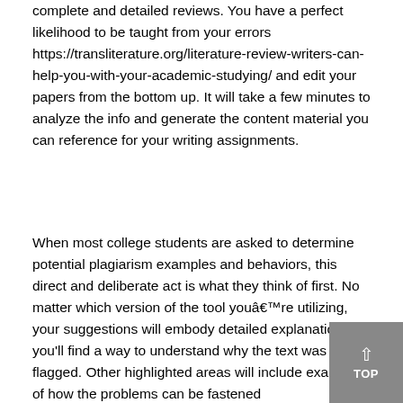complete and detailed reviews. You have a perfect likelihood to be taught from your errors https://transliterature.org/literature-review-writers-can-help-you-with-your-academic-studying/ and edit your papers from the bottom up. It will take a few minutes to analyze the info and generate the content material you can reference for your writing assignments.
When most college students are asked to determine potential plagiarism examples and behaviors, this direct and deliberate act is what they think of first. No matter which version of the tool youâre utilizing, your suggestions will embody detailed explanations so you’ll find a way to understand why the text was flagged. Other highlighted areas will include examples of how the problems can be fastened